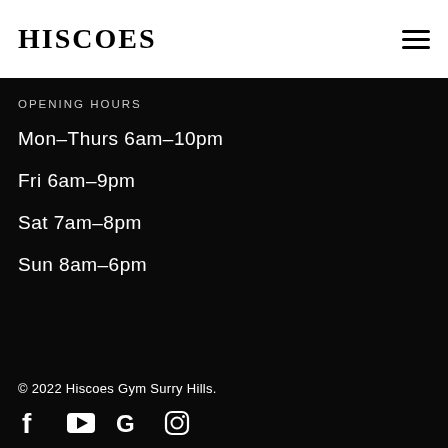HISCOES
OPENING HOURS
Mon-Thurs 6am-10pm
Fri 6am-9pm
Sat 7am-8pm
Sun 8am-6pm
© 2022 Hiscoes Gym Surry Hills.
[Figure (infographic): Social media icons: Facebook, YouTube, Google, Instagram]